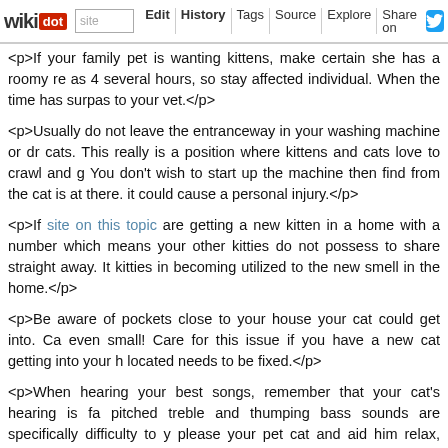wikidot | site | Edit | History | Tags | Source | Explore | Share on Twitter
<p>If your family pet is wanting kittens, make certain she has a roomy re as 4 several hours, so stay affected individual. When the time has surpas to your vet.</p>
<p>Usually do not leave the entranceway in your washing machine or dr cats. This really is a position where kittens and cats love to crawl and g You don't wish to start up the machine then find from the cat is at there. it could cause a personal injury.</p>
<p>If site on this topic are getting a new kitten in a home with a number which means your other kitties do not possess to share straight away. It kitties in becoming utilized to the new smell in the home.</p>
<p>Be aware of pockets close to your house your cat could get into. Ca even small! Care for this issue if you have a new cat getting into your h located needs to be fixed.</p>
<p>When hearing your best songs, remember that your cat's hearing is fa pitched treble and thumping bass sounds are specifically difficulty to y please your pet cat and aid him relax, enjoy one thing by using a reduced</p>
<p>Some cats have aversions to certain types of litter. If https://laura very-own-your-dog-this-is-for-you-personally/ find that your pet cat is converting the sort of kitty litter that you will be employing. Only do tha modify. The feline may quit using the cat litter box if you alter the kind of li</p>
<p>Shelters will not be the only way to obtain neighborhood family pet a the reports or on the internet where by inhabitants are providing cats, small-to-no charge. Often times, these individuals are offering these</p>